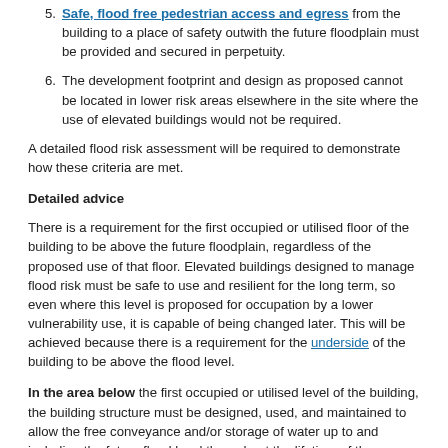5. Safe, flood free pedestrian access and egress from the building to a place of safety outwith the future floodplain must be provided and secured in perpetuity.
6. The development footprint and design as proposed cannot be located in lower risk areas elsewhere in the site where the use of elevated buildings would not be required.
A detailed flood risk assessment will be required to demonstrate how these criteria are met.
Detailed advice
There is a requirement for the first occupied or utilised floor of the building to be above the future floodplain, regardless of the proposed use of that floor. Elevated buildings designed to manage flood risk must be safe to use and resilient for the long term, so even where this level is proposed for occupation by a lower vulnerability use, it is capable of being changed later. This will be achieved because there is a requirement for the underside of the building to be above the flood level.
In the area below the first occupied or utilised level of the building, the building structure must be designed, used, and maintained to allow the free conveyance and/or storage of water up to and including the future flood level throughout the lifetime of the development. This can be achieved by ensuring